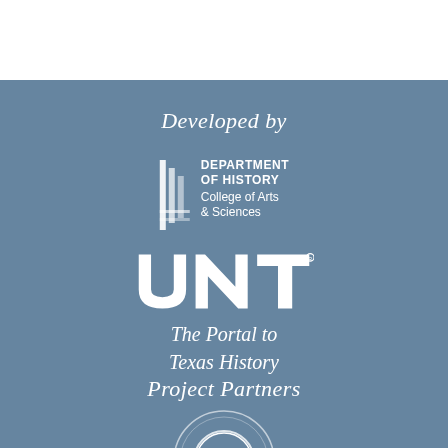Developed by
[Figure (logo): UNT Department of History, College of Arts & Sciences logo with stripe icon]
[Figure (logo): UNT wordmark logo in white bold letters]
The Portal to Texas History
Project Partners
[Figure (logo): Circular partner organization logo with letter B]